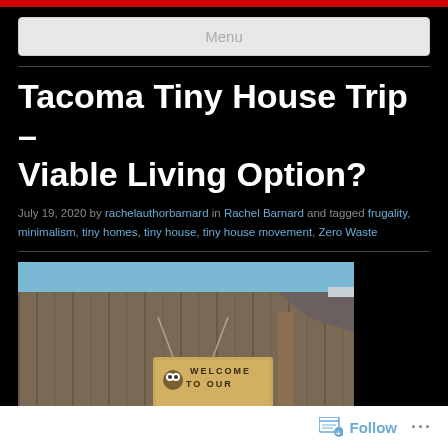Menu
Tacoma Tiny House Trip – Viable Living Option?
July 19, 2020 by rachelauthorbarnard in Rachel Barnard and tagged frugality, minimalism, tiny homes, tiny house, tiny house movement, Zero Waste
[Figure (photo): A wooden fence with a hanging sign that reads WELCOME TO OUR in a rustic outdoor setting with a blue sky visible above]